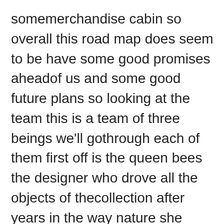somemerchandise cabin so overall this road map does seem to be have some good promises aheadof us and some good future plans so looking at the team this is a team of three beings we'll gothrough each of them first off is the queen bees the designer who drove all the objects of thecollection after years in the way nature she decided to leant all her imagination at the disposalof nfts next they have king bees the developer of the group he's in charge of everything related tosmart contracts and the logistic parts of the nfts and finally all so the smartest guy of thegroup he takes care of the advertisement parts of the project giveaways wireless contests andraffles like i mentioned earlier they have some huge art and here are some more schemes they havethat are some sneak peeks of their art cases and as you can see there's a lot of damascus content a lot of bees situations and a sort of